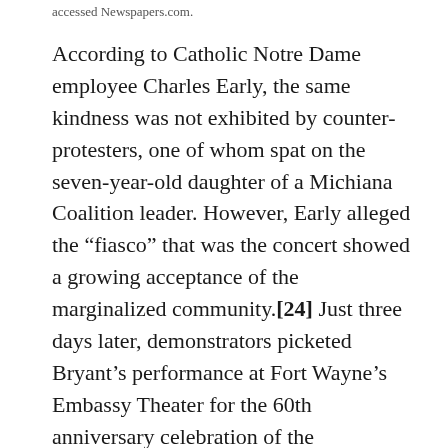accessed Newspapers.com.
According to Catholic Notre Dame employee Charles Early, the same kindness was not exhibited by counter-protesters, one of whom spat on the seven-year-old daughter of a Michiana Coalition leader. However, Early alleged the “fiasco” that was the concert showed a growing acceptance of the marginalized community.[24] Just three days later, demonstrators picketed Bryant’s performance at Fort Wayne’s Embassy Theater for the 60th anniversary celebration of the Brotherhood Mutual Insurance Co. Some carried signs saying “Gay is Okay” and “Anita Bryant is Proof Orange Juice Causes Brain Damage.”[25]